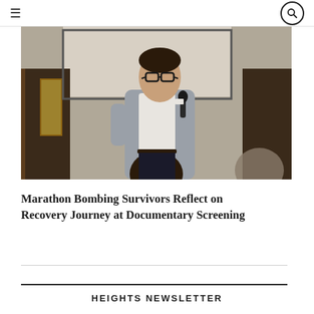≡ [search icon]
[Figure (photo): A man in a grey blazer and white shirt holding a microphone, speaking at an event, with a projection screen behind him and audience members in the foreground.]
Marathon Bombing Survivors Reflect on Recovery Journey at Documentary Screening
HEIGHTS NEWSLETTER